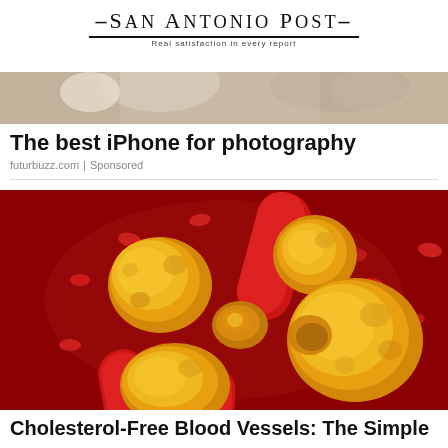–San Antonio Post– Real satisfaction in every report
[Figure (photo): Cropped top of a photo showing people in a blurred indoor setting, used as an advertisement banner image]
The best iPhone for photography
futurbuzz.com | Sponsored
[Figure (photo): 3D medical illustration showing yellow cholesterol globules and red blood cells inside a blood vessel on a dark red background]
Cholesterol-Free Blood Vessels: The Simple